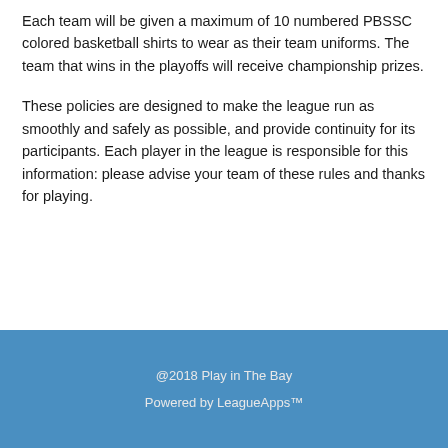Each team will be given a maximum of 10 numbered PBSSC colored basketball shirts to wear as their team uniforms. The team that wins in the playoffs will receive championship prizes.
These policies are designed to make the league run as smoothly and safely as possible, and provide continuity for its participants. Each player in the league is responsible for this information: please advise your team of these rules and thanks for playing.
@2018 Play in The Bay
Powered by LeagueApps™